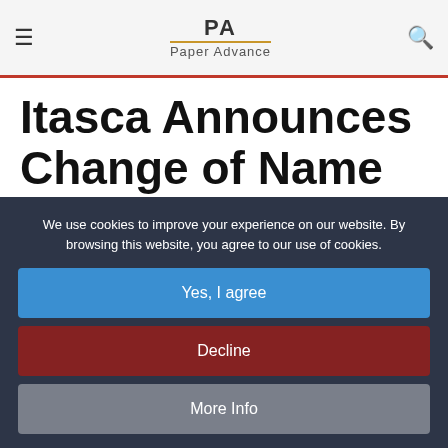PA Paper Advance
Itasca Announces Change of Name to GreenFirst Forest Products Inc.
We use cookies to improve your experience on our website. By browsing this website, you agree to our use of cookies.
Yes, I agree
Decline
More Info